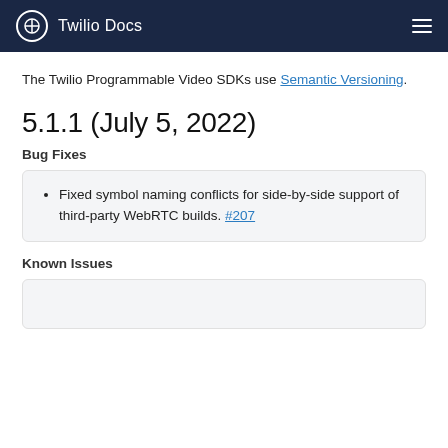Twilio Docs
The Twilio Programmable Video SDKs use Semantic Versioning.
5.1.1 (July 5, 2022)
Bug Fixes
Fixed symbol naming conflicts for side-by-side support of third-party WebRTC builds. #207
Known Issues